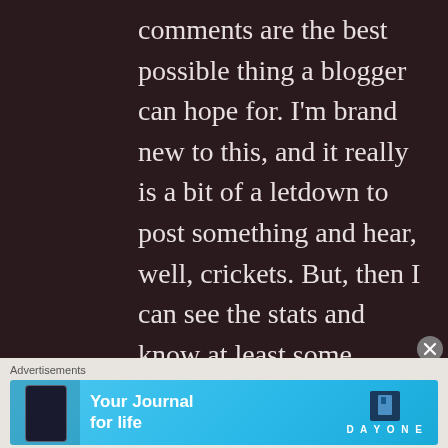comments are the best possible thing a blogger can hope for. I'm brand new to this, and it really is a bit of a letdown to post something and hear, well, crickets. But, then I can see the stats and know at least some people are reading it...still, it would be nice to hear back. Anyway, as a complete wino I have to say that this is
[Figure (other): Advertisement banner for Day One journal app with blue gradient background, phone mockup, text 'Your Journal for life', and Day One logo]